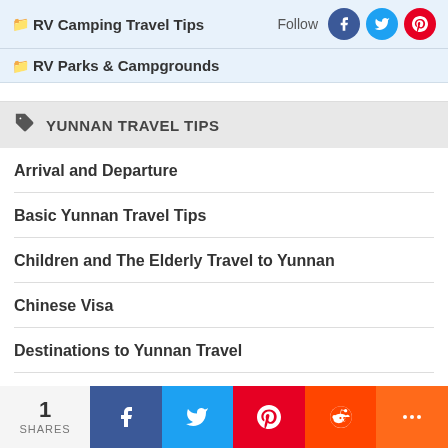RV Camping Travel Tips
RV Parks & Campgrounds
YUNNAN TRAVEL TIPS
Arrival and Departure
Basic Yunnan Travel Tips
Children and The Elderly Travel to Yunnan
Chinese Visa
Destinations to Yunnan Travel
Drinking Tips in Yunnan
1 SHARES | Facebook | Twitter | Pinterest | Reddit | More